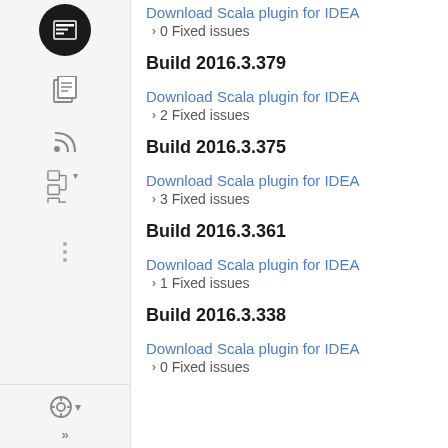Download Scala plugin for IDEA
› 0 Fixed issues
Build 2016.3.379
Download Scala plugin for IDEA
› 2 Fixed issues
Build 2016.3.375
Download Scala plugin for IDEA
› 3 Fixed issues
Build 2016.3.361
Download Scala plugin for IDEA
› 1 Fixed issues
Build 2016.3.338
Download Scala plugin for IDEA
› 0 Fixed issues